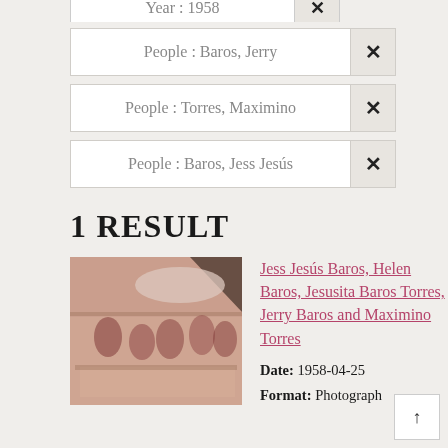Year : 1958 ×
People : Baros, Jerry ×
People : Torres, Maximino ×
People : Baros, Jess Jesús ×
1 RESULT
[Figure (photo): Vintage sepia-toned photograph of a group of people gathered around a table in a kitchen or dining room setting, circa 1958.]
Jess Jesús Baros, Helen Baros, Jesusita Baros Torres, Jerry Baros and Maximino Torres
Date: 1958-04-25
Format: Photograph